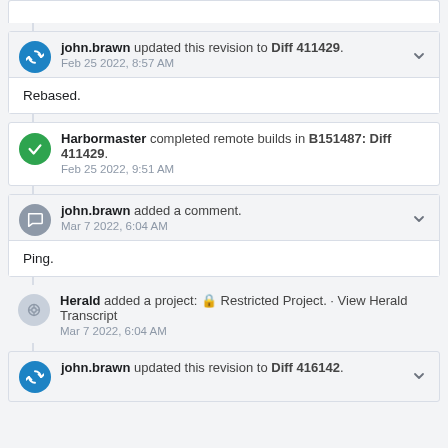john.brawn updated this revision to Diff 411429. Feb 25 2022, 8:57 AM
Rebased.
Harbormaster completed remote builds in B151487: Diff 411429. Feb 25 2022, 9:51 AM
john.brawn added a comment. Mar 7 2022, 6:04 AM
Ping.
Herald added a project: Restricted Project. · View Herald Transcript Mar 7 2022, 6:04 AM
john.brawn updated this revision to Diff 416142.